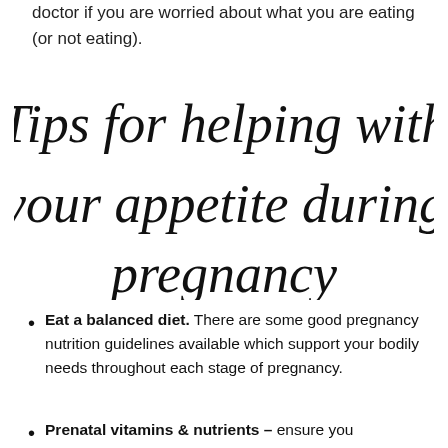doctor if you are worried about what you are eating (or not eating).
Tips for helping with your appetite during pregnancy
Eat a balanced diet. There are some good pregnancy nutrition guidelines available which support your bodily needs throughout each stage of pregnancy.
Prenatal vitamins & nutrients – ensure you